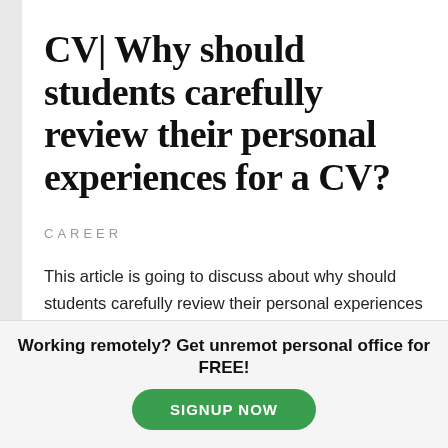CV| Why should students carefully review their personal experiences for a CV?
CAREER
This article is going to discuss about why should students carefully review their personal experiences for a CV. Getting the job you want might seem like a distant future. You are a student
Working remotely? Get unremot personal office for FREE!
SIGNUP NOW